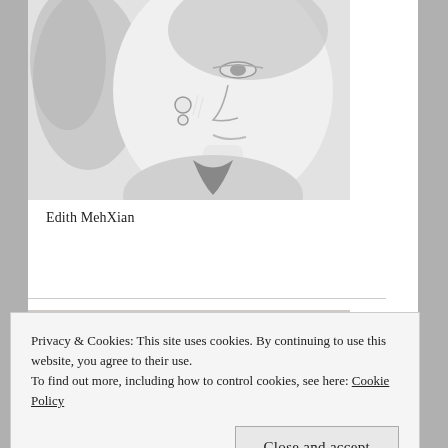[Figure (illustration): Pencil sketch/drawing of a woman's face in profile, showing detailed shading and features including hair, earrings, and clothing.]
Edith MehXian
[Figure (photo): Partially visible image below the divider line, appears to be another artwork or photo.]
Privacy & Cookies: This site uses cookies. By continuing to use this website, you agree to their use.
To find out more, including how to control cookies, see here: Cookie Policy
[Figure (illustration): Partially visible image at bottom of page, appears to be another pencil sketch or drawing.]